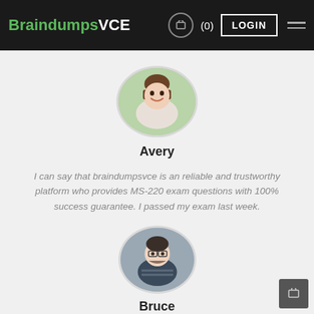BraindumpsVCE (0) LOGIN
[Figure (photo): Circular avatar photo of a smiling young woman named Avery with brown hair, green background]
Avery
I can say that braindumpsvce is an reliable and trustworthy platform who provides MS-220 exam questions with 100% success guarantee. I passed my exam last week.
[Figure (photo): Circular avatar photo of a young man named Bruce wearing glasses and a striped shirt, gray background]
Bruce